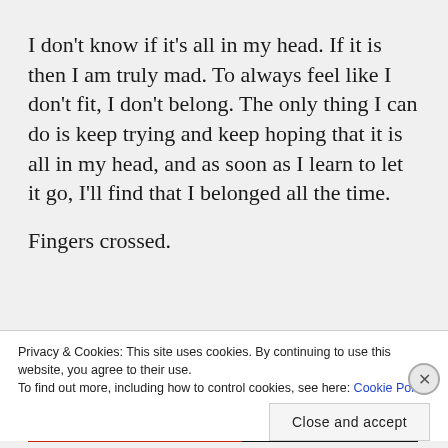I don't know if it's all in my head. If it is then I am truly mad. To always feel like I don't fit, I don't belong. The only thing I can do is keep trying and keep hoping that it is all in my head, and as soon as I learn to let it go, I'll find that I belonged all the time.
Fingers crossed.
Advertisements
Privacy & Cookies: This site uses cookies. By continuing to use this website, you agree to their use.
To find out more, including how to control cookies, see here: Cookie Policy
Close and accept